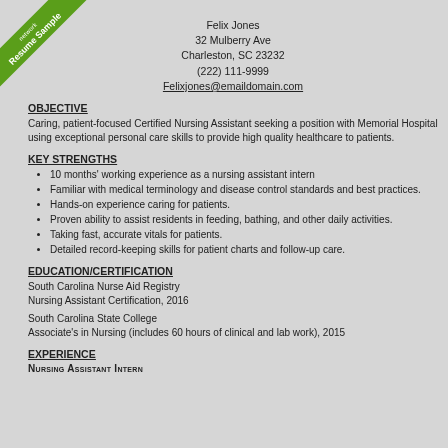[Figure (other): Green diagonal ribbon banner in top-left corner with text 'Resume Sample' and a logo icon]
Felix Jones
32 Mulberry Ave
Charleston, SC 23232
(222) 111-9999
Felixjones@emaildomain.com
OBJECTIVE
Caring, patient-focused Certified Nursing Assistant seeking a position with Memorial Hospital using exceptional personal care skills to provide high quality healthcare to patients.
KEY STRENGTHS
10 months' working experience as a nursing assistant intern
Familiar with medical terminology and disease control standards and best practices.
Hands-on experience caring for patients.
Proven ability to assist residents in feeding, bathing, and other daily activities.
Taking fast, accurate vitals for patients.
Detailed record-keeping skills for patient charts and follow-up care.
EDUCATION/CERTIFICATION
South Carolina Nurse Aid Registry
Nursing Assistant Certification, 2016
South Carolina State College
Associate's in Nursing (includes 60 hours of clinical and lab work), 2015
EXPERIENCE
NURSING ASSISTANT INTERN